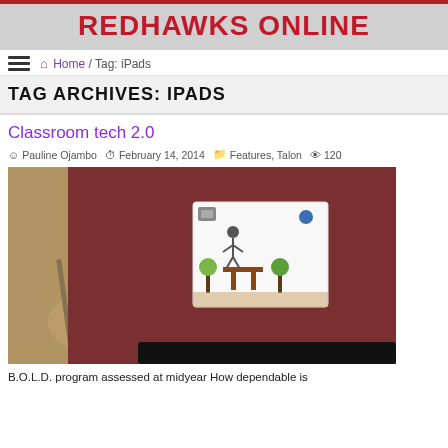REDHAWKS ONLINE
Home / Tag: iPads
TAG ARCHIVES: IPADS
Classroom tech 2.0
Pauline Ojambo   February 14, 2014   Features, Talon   120
[Figure (photo): A person holding a stylus pen near a maroon/dark red notebook or folder, with a hand-drawn illustration card showing stick figures and a table, placed on top of the notebook. A black iPad or tablet is visible in the foreground.]
B.O.L.D. program assessed at midyear How dependable is